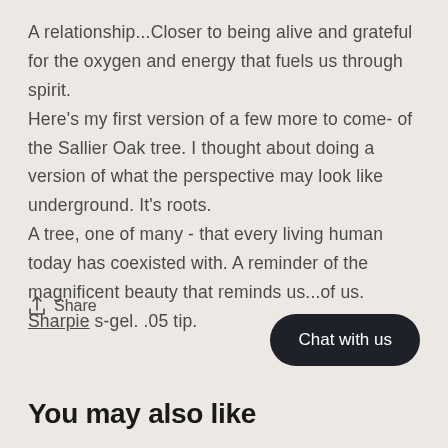A relationship...Closer to being alive and grateful for the oxygen and energy that fuels us through spirit. Here's my first version of a few more to come- of the Sallier Oak tree. I thought about doing a version of what the perspective may look like underground. It's roots. A tree, one of many - that every living human today has coexisted with. A reminder of the magnificent beauty that reminds us...of us. Sharpie s-gel. .05 tip.
Share
Chat with us
You may also like